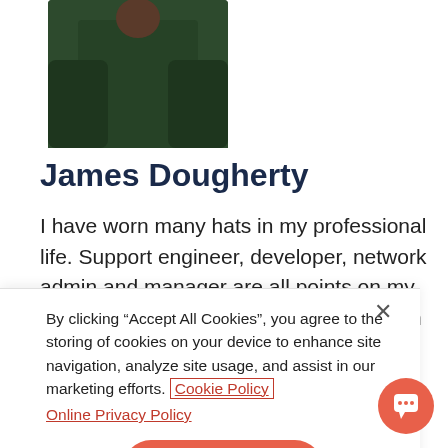[Figure (photo): Partial profile photo of James Dougherty wearing a dark green shirt, cropped at the torso/shoulder area]
James Dougherty
I have worn many hats in my professional life. Support engineer, developer, network admin and manager are all points on my resume, but the one common thread with all of these jobs is that I enjoy
By clicking “Accept All Cookies”, you agree to the storing of cookies on your device to enhance site navigation, analyze site usage, and assist in our marketing efforts. Cookie Policy
Online Privacy Policy
Accept All Cookies